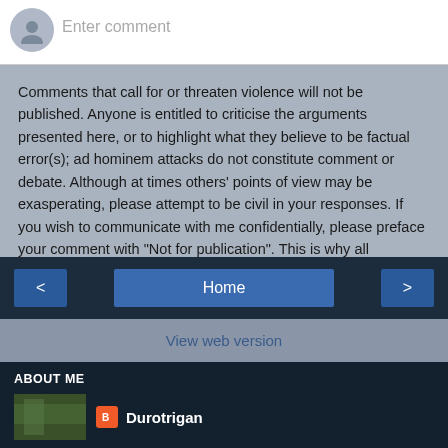Enter comment
Comments that call for or threaten violence will not be published. Anyone is entitled to criticise the arguments presented here, or to highlight what they believe to be factual error(s); ad hominem attacks do not constitute comment or debate. Although at times others' points of view may be exasperating, please attempt to be civil in your responses. If you wish to communicate with me confidentially, please preface your comment with "Not for publication". This is why all comments are moderated.
< Home >
View web version
ABOUT ME
Durotrigan